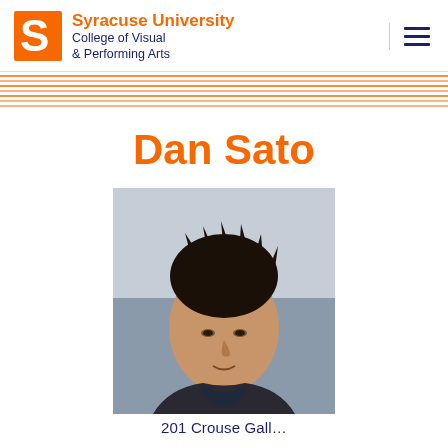Syracuse University College of Visual & Performing Arts
Dan Sato
[Figure (photo): Headshot of Dan Sato, a person with dark spiky hair wearing a dark coat and scarf, photographed outdoors with a blurred background.]
201 Crouse Gallery